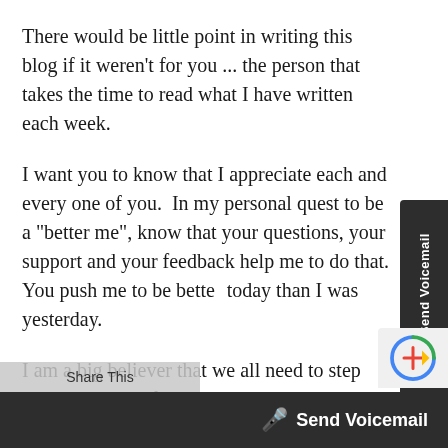There would be little point in writing this blog if it weren't for you ... the person that takes the time to read what I have written each week.
I want you to know that I appreciate each and every one of you.  In my personal quest to be a "better me", know that your questions, your support and your feedback help me to do that. You push me to be better today than I was yesterday.
I am a big believer that we all need to step outside our comfort zones. We really need to stretch not only in our businesses but in our personal lives. Sometimes this is uncomfortable.  Sometimes  we don't want to do it. At times our well meaning friends and family try to hold us back. They don't understand these crazy entrepreneurial dreams that we have.  Know that I have great admiration for you because you keep pushing forward; taking baby st...